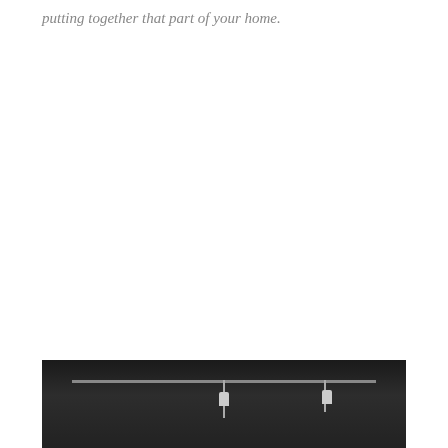putting together that part of your home.
[Figure (photo): Photograph of a dark ceiling with track lighting fixtures, showing two white track light heads mounted on a black ceiling track.]